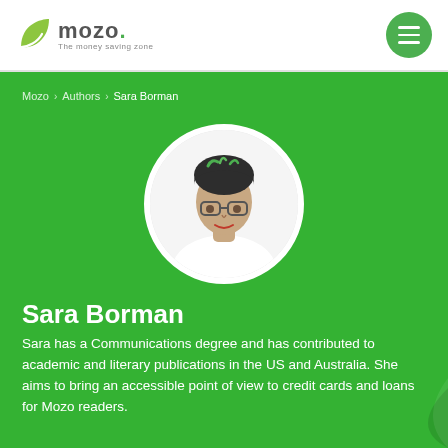mozo — The money saving zone
Mozo > Authors > Sara Borman
[Figure (photo): Circular profile photo of Sara Borman, a woman with green-tipped hair wearing a white top, photographed against a light background.]
Sara Borman
Sara has a Communications degree and has contributed to academic and literary publications in the US and Australia. She aims to bring an accessible point of view to credit cards and loans for Mozo readers.